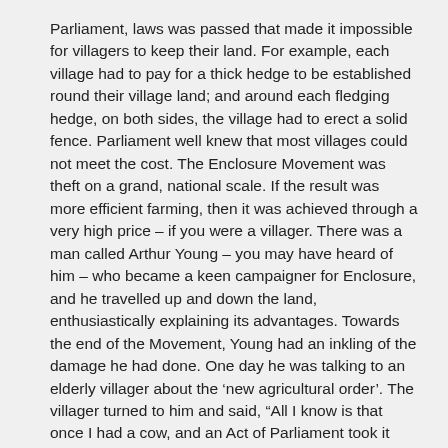Parliament, laws was passed that made it impossible for villagers to keep their land. For example, each village had to pay for a thick hedge to be established round their village land; and around each fledging hedge, on both sides, the village had to erect a solid fence. Parliament well knew that most villages could not meet the cost. The Enclosure Movement was theft on a grand, national scale. If the result was more efficient farming, then it was achieved through a very high price – if you were a villager. There was a man called Arthur Young – you may have heard of him – who became a keen campaigner for Enclosure, and he travelled up and down the land, enthusiastically explaining its advantages. Towards the end of the Movement, Young had an inkling of the damage he had done. One day he was talking to an elderly villager about the 'new agricultural order'. The villager turned to him and said, "All I know is that once I had a cow, and an Act of Parliament took it away from me". – Gunnar
Reply
Gunnar Sivertsen   on February 09, 2016  ·  at 2:12 pm EST/EDT
Mike Munford: your post has generated a lot of responses, which is great – including one from me. Here is another one...